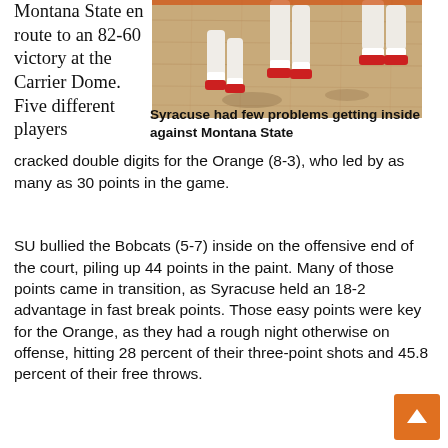Montana State en route to an 82-60 victory at the Carrier Dome. Five different players cracked double digits for the Orange (8-3), who led by as many as 30 points in the game.
[Figure (photo): Basketball players' legs visible on a hardwood court, white and red shoes, Syracuse vs Montana State game at the Carrier Dome.]
Syracuse had few problems getting inside against Montana State
SU bullied the Bobcats (5-7) inside on the offensive end of the court, piling up 44 points in the paint. Many of those points came in transition, as Syracuse held an 18-2 advantage in fast break points. Those easy points were key for the Orange, as they had a rough night otherwise on offense, hitting 28 percent of their three-point shots and 45.8 percent of their free throws.